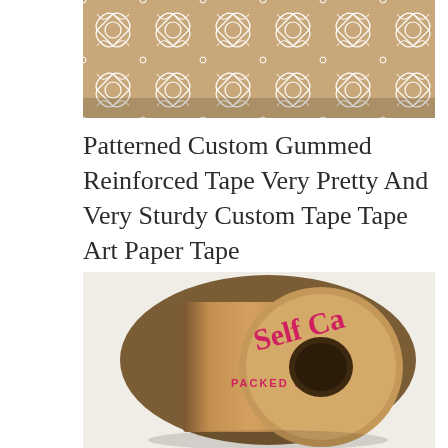[Figure (photo): Close-up of a roll of patterned kraft/tan gummed reinforced tape showing a repeating geometric floral/medallion pattern in white on a tan/brown background]
Patterned Custom Gummed Reinforced Tape Very Pretty And Very Sturdy Custom Tape Tape Art Paper Tape
[Figure (photo): A roll of kraft brown gummed reinforced tape printed with pink/magenta text reading 'Self Ca... PACKED WITH L...' on a light beige/cream background]